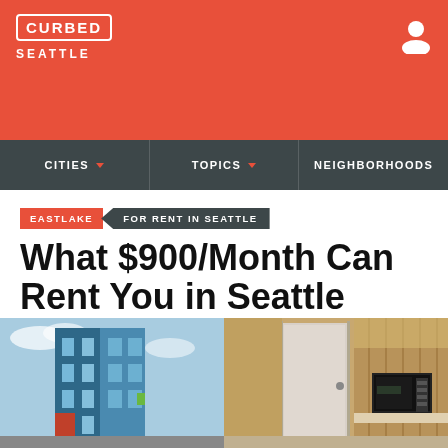CURBED SEATTLE
CITIES | TOPICS | NEIGHBORHOODS
EASTLAKE  FOR RENT IN SEATTLE
What $900/Month Can Rent You in Seattle Right Now
By Sean Keeley | @SeanKeeleyIsMe | Jun 3, 2015, 1:05pm PDT
[Figure (photo): Two photos side by side: left shows a modern blue apartment building exterior against a cloudy sky; right shows an interior room with a door and kitchen appliances.]